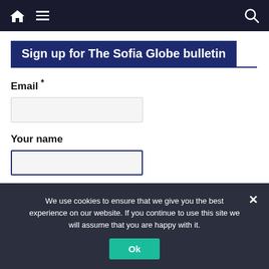Navigation bar with home, menu, and search icons
Sign up for The Sofia Globe bulletin
Email *
Your name
Subscribe!
We use cookies to ensure that we give you the best experience on our website. If you continue to use this site we will assume that you are happy with it.
Ok